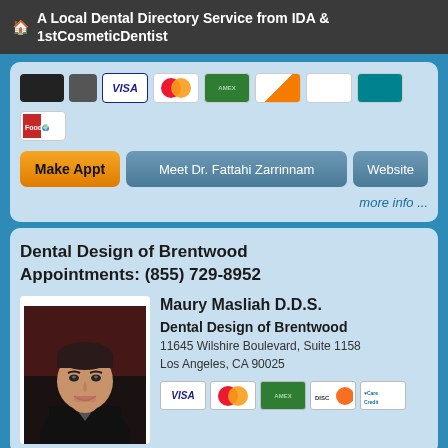A Local Dental Directory Service from IDA & 1stCosmeticDentist
[Figure (screenshot): Partial top section of a dental listing card showing credit card icons and payment badges]
Make Appt   Meet Dr. Fattahi Zarrinnam   Website
more info ...
Dental Design of Brentwood
Appointments: (855) 729-8952
[Figure (photo): Photo of Maury Masliah D.D.S., a man with dark hair smiling]
Maury Masliah D.D.S.
Dental Design of Brentwood
11645 Wilshire Boulevard, Suite 1158
Los Angeles, CA 90025
[Figure (screenshot): Payment card icons: VISA, MasterCard, American Express green, Discover, CareCredit]